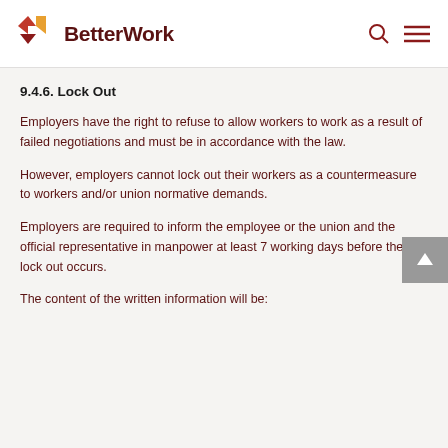BetterWork
9.4.6. Lock Out
Employers have the right to refuse to allow workers to work as a result of failed negotiations and must be in accordance with the law.
However, employers cannot lock out their workers as a countermeasure to workers and/or union normative demands.
Employers are required to inform the employee or the union and the official representative in manpower at least 7 working days before the a lock out occurs.
The content of the written information will be: